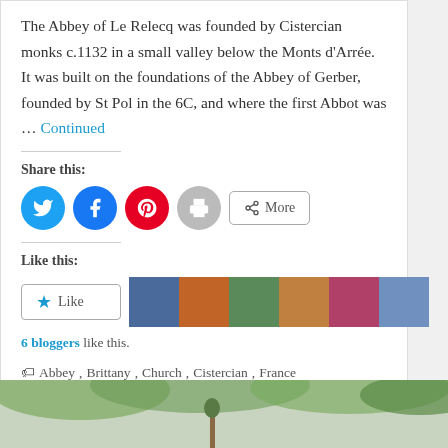The Abbey of Le Relecq was founded by Cistercian monks c.1132 in a small valley below the Monts d'Arrée. It was built on the foundations of the Abbey of Gerber, founded by St Pol in the 6C, and where the first Abbot was … Continued
Share this:
[Figure (infographic): Social share buttons: Twitter (blue circle), Facebook (blue circle), Pinterest (red circle), Print (grey circle), More (rectangular button with share icon)]
Like this:
[Figure (infographic): Like button with star icon, and 6 blogger avatar thumbnails in a row]
6 bloggers like this.
Abbey, Brittany, Church, Cistercian, France
[Figure (photo): Partial photo visible at bottom showing trees and outdoor scene]